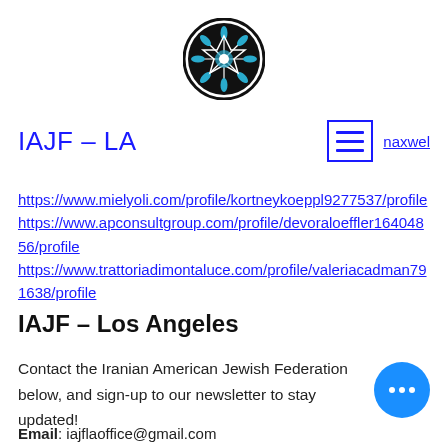[Figure (logo): Circular logo with Star of David and snowflake/mandala pattern in black and white]
IAJF – LA
naxwel
https://www.mielyoli.com/profile/kortneykoeppl9277537/profile
https://www.apconsultgroup.com/profile/devoraloeffler16404856/profile
https://www.trattoriadimontaluce.com/profile/valeriacadman791638/profile
IAJF – Los Angeles
Contact the Iranian American Jewish Federation below, and sign-up to our newsletter to stay updated!
Email: iajflaoffice@gmail.com